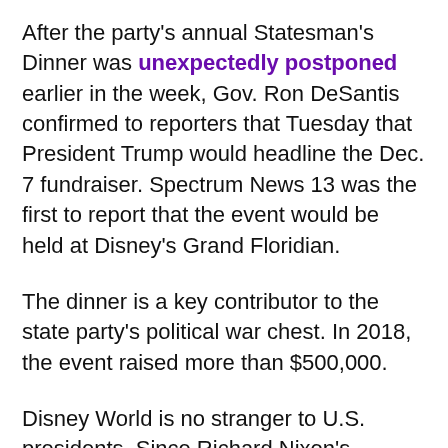After the party's annual Statesman's Dinner was unexpectedly postponed earlier in the week, Gov. Ron DeSantis confirmed to reporters that Tuesday that President Trump would headline the Dec. 7 fundraiser. Spectrum News 13 was the first to report that the event would be held at Disney's Grand Floridian.
The dinner is a key contributor to the state party's political war chest. In 2018, the event raised more than $500,000.
Disney World is no stranger to U.S. presidents. Since Richard Nixon's November 1973 visit to the Contemporary Resort — where he famously declared "I'm not a crook" in the midst of the Watergate investigation that led to his resignation nine months later — nearly every U.S. president has made an appearance on Disney World property during their